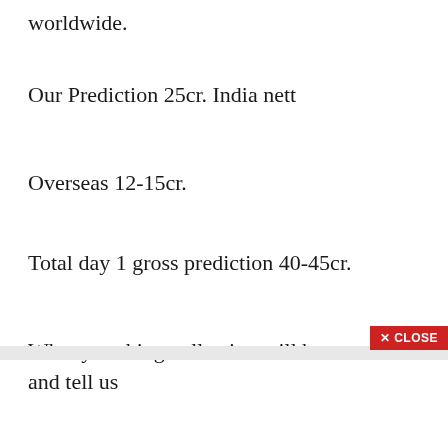worldwide.
Our Prediction 25cr. India nett
Overseas 12-15cr.
Total day 1 gross prediction 40-45cr.
What you thing collection will be comment and tell us